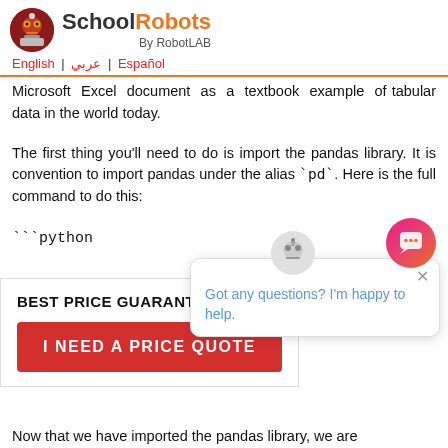SchoolRobots By RobotLAB
English | عربي | Español
Microsoft Excel document as a textbook example of tabular data in the world today.
The first thing you'll need to do is import the pandas library. It is convention to import pandas under the alias `pd`. Here is the full command to do this:
```python
BEST PRICE GUARANTEE
I NEED A PRICE QUOTE
Got any questions? I'm happy to help.
Now that we have imported the pandas library, we are